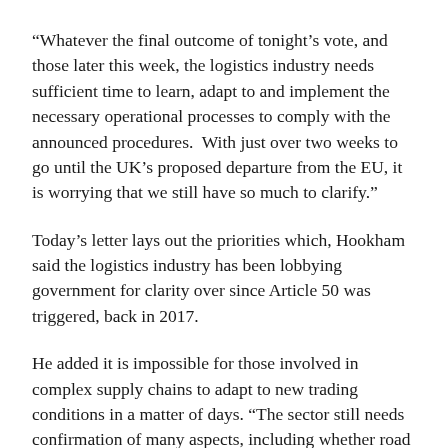“Whatever the final outcome of tonight’s vote, and those later this week, the logistics industry needs sufficient time to learn, adapt to and implement the necessary operational processes to comply with the announced procedures.  With just over two weeks to go until the UK’s proposed departure from the EU, it is worrying that we still have so much to clarify.”
Today’s letter lays out the priorities which, Hookham said the logistics industry has been lobbying government for clarity over since Article 50 was triggered, back in 2017.
He added it is impossible for those involved in complex supply chains to adapt to new trading conditions in a matter of days. “The sector still needs confirmation of many aspects, including whether road haulage permits will be required, the level of Customs tariffs, access to a skilled workforce and how red tape will be minimised for imports